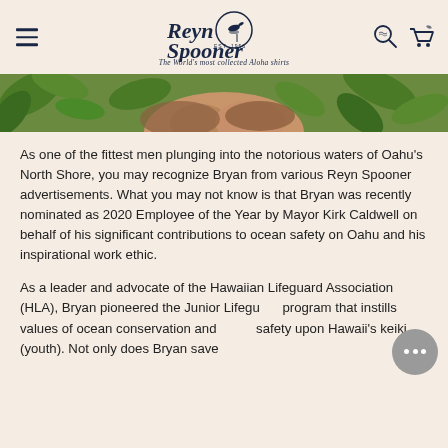Reyn Spooner — The World's most collected Aloha shirts
[Figure (photo): Partial photo of hands/greenery, cropped at top of content area]
As one of the fittest men plunging into the notorious waters of Oahu's North Shore, you may recognize Bryan from various Reyn Spooner advertisements. What you may not know is that Bryan was recently nominated as 2020 Employee of the Year by Mayor Kirk Caldwell on behalf of his significant contributions to ocean safety on Oahu and his inspirational work ethic.
As a leader and advocate of the Hawaiian Lifeguard Association (HLA), Bryan pioneered the Junior Lifeguard program that instills values of ocean conservation and safety upon Hawaii's keiki (youth). Not only does Bryan save